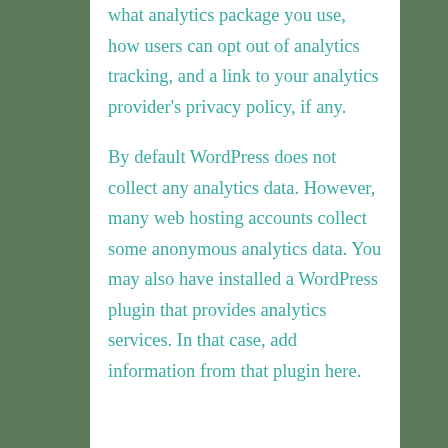what analytics package you use, how users can opt out of analytics tracking, and a link to your analytics provider's privacy policy, if any.

By default WordPress does not collect any analytics data. However, many web hosting accounts collect some anonymous analytics data. You may also have installed a WordPress plugin that provides analytics services. In that case, add information from that plugin here.